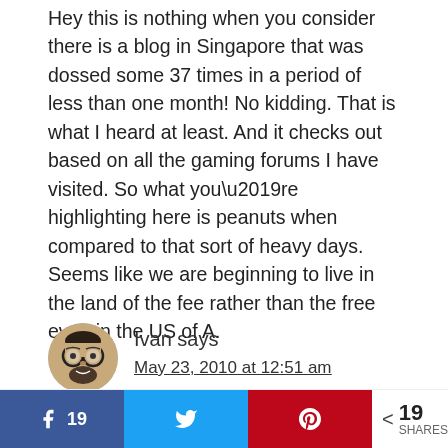Hey this is nothing when you consider there is a blog in Singapore that was dossed some 37 times in a period of less than one month! No kidding. That is what I heard at least. And it checks out based on all the gaming forums I have visited. So what you’re highlighting here is peanuts when compared to that sort of heavy days. Seems like we are beginning to live in the land of the fee rather than the free even in the US of A.
[Figure (illustration): Avatar/profile image of commenter Ivan — cartoon-style illustrated face with glasses and beard, circular crop]
Ivan says
May 23, 2010 at 12:51 am
The problem in Godaddy is not resolved. This Sunday morning i have another hacker intrusion in my godaddy account:
Log of wordpress file monitor: